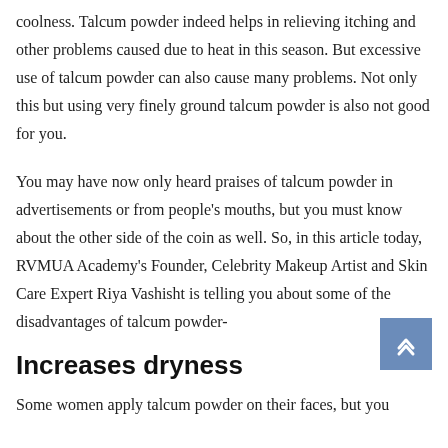coolness. Talcum powder indeed helps in relieving itching and other problems caused due to heat in this season. But excessive use of talcum powder can also cause many problems. Not only this but using very finely ground talcum powder is also not good for you.
You may have now only heard praises of talcum powder in advertisements or from people's mouths, but you must know about the other side of the coin as well. So, in this article today, RVMUA Academy's Founder, Celebrity Makeup Artist and Skin Care Expert Riya Vashisht is telling you about some of the disadvantages of talcum powder-
Increases dryness
Some women apply talcum powder on their faces, but you